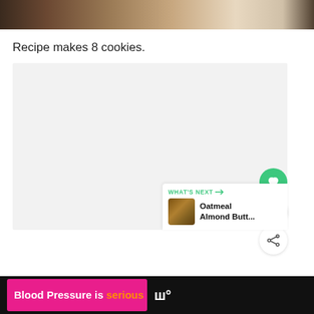[Figure (photo): Top portion of a food photo showing baked goods on a surface, partially cropped]
Recipe makes 8 cookies.
[Figure (other): Large light gray content area with floating UI elements: a green heart/like button, a count badge showing '1', a share button, and a 'WHAT'S NEXT' card showing 'Oatmeal Almond Butt...']
[Figure (other): Advertisement banner at bottom: dark background with pink ad section reading 'Blood Pressure is serious' with orange text for 'serious', purple heart icon, and a logo on the right]